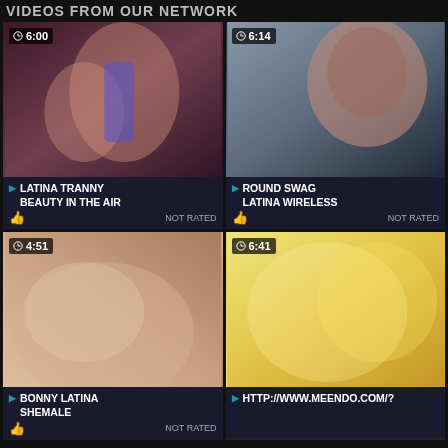VIDEOS FROM OUR NETWORK
[Figure (photo): Video thumbnail with duration 6:00, adult content]
[Figure (photo): Video thumbnail with duration 6:14, adult content]
▶ LATINA TRANNY BEAUTY IN THE AIR  👍 NOT RATED
▶ ROUND SWAG LATINA WIRELESS  👍 NOT RATED
[Figure (photo): Video thumbnail with duration 4:51, adult content]
[Figure (photo): Video thumbnail with duration 6:41, adult content]
▶ BONNY LATINA SHEMALE  👍 NOT RATED
▶ HTTP://WWW.MEENDO.COM/?